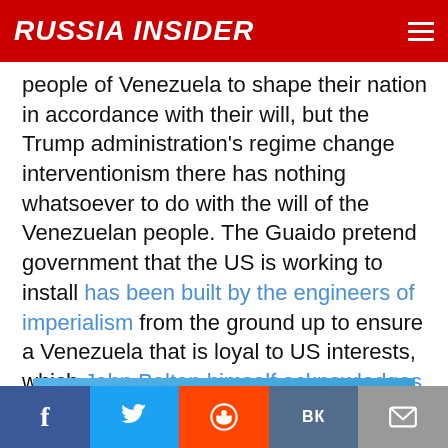RUSSIA INSIDER
people of Venezuela to shape their nation in accordance with their will, but the Trump administration's regime change interventionism there has nothing whatsoever to do with the will of the Venezuelan people. The Guaido pretend government that the US is working to install has been built by the engineers of imperialism from the ground up to ensure a Venezuela that is loyal to US interests, which John Bolton himself acknowledges have a lot to do with oil.
[Figure (other): Advertisement banner with blue sky and cloud graphics]
Facebook | Twitter | Reddit | VK | Email social sharing buttons